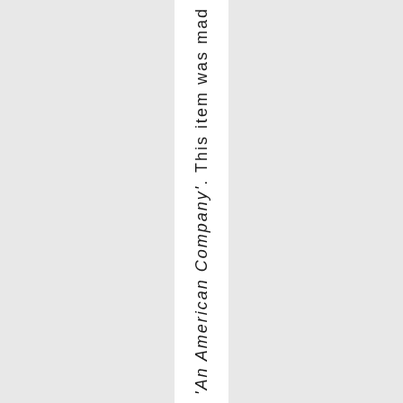'An American Company'. This item was mad